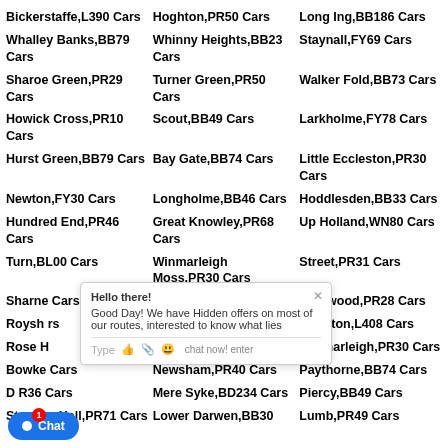Bickerstaffe,L390 Cars
Hoghton,PR50 Cars
Long Ing,BB186 Cars
Whalley Banks,BB79 Cars
Whinny Heights,BB23 Cars
Staynall,FY69 Cars
Sharoe Green,PR29 Cars
Turner Green,PR50 Cars
Walker Fold,BB73 Cars
Howick Cross,PR10 Cars
Scout,BB49 Cars
Larkholme,FY78 Cars
Hurst Green,BB79 Cars
Bay Gate,BB74 Cars
Little Eccleston,PR30 Cars
Newton,FY30 Cars
Longholme,BB46 Cars
Hoddlesden,BB33 Cars
Hundred End,PR46 Cars
Great Knowley,PR68 Cars
Up Holland,WN80 Cars
Turn,BL00 Cars
Winmarleigh Moss,PR30 Cars
Street,PR31 Cars
Sharne Cars
Roe Lee,BB18 Cars
Sherwood,PR28 Cars
Roysha rs
Seed Lee,PR58 Cars
Hurlston,L408 Cars
Rose H
Wade Hall,PR251 Cars
Winmarleigh,PR30 Cars
Bowke Cars
Newsham,PR40 Cars
Paythorne,BB74 Cars
D R36 Cars
Mere Syke,BD234 Cars
Piercy,BB49 Cars
Standen Hall,PR71 Cars
Lower Darwen,BB30
Lumb,PR49 Cars